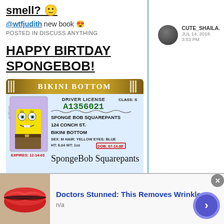smell? 🙂
@wtfjudith new book 😍
POSTED IN DISCUSS ANYTHING
HAPPY BIRTDAY SPONGEBOB!
[Figure (illustration): Fake Bikini Bottom Driver License card for SpongeBob SquarePants, license number A1356021, expires 12-14-03, DOB 07-14-86, with SpongeBob photo and signature]
OUUU, TODAY IS SPONGEBOB BIRTHDAY!! HAPPY BIRTHDAY
CUTE_SHAILA.
JUL 14, 2018.
3:53 PM
CUTE_SHAILA.
JUL 14, 2018.
10:11 AM
Doctors Stunned: This Removes Wrinkles
n/a